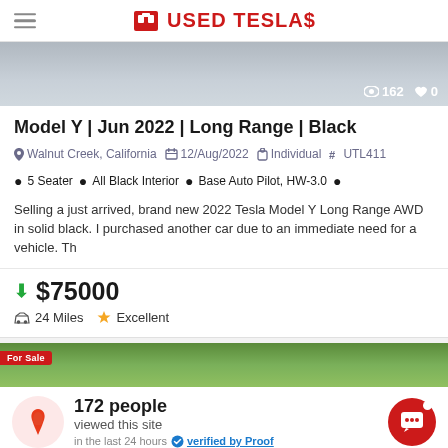USED TESLAS
[Figure (photo): Partial view of a Tesla vehicle, gray/silver color. Shows 162 views and 0 likes overlay.]
Model Y | Jun 2022 | Long Range | Black
Walnut Creek, California  12/Aug/2022  Individual  # UTL411
5 Seater  All Black Interior  Base Auto Pilot, HW-3.0
Selling a just arrived, brand new 2022 Tesla Model Y Long Range AWD in solid black. I purchased another car due to an immediate need for a vehicle. Th
$75000  24 Miles  Excellent
[Figure (photo): Partial view of a second Tesla vehicle listing with a For Sale badge, green/outdoor background.]
172 people viewed this site in the last 24 hours  verified by Proof